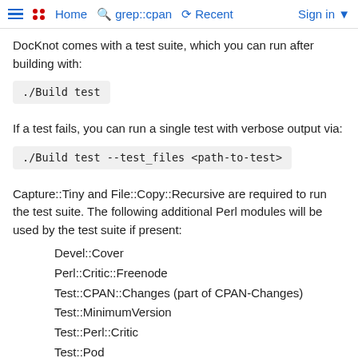Home   grep::cpan   Recent   Sign in
DocKnot comes with a test suite, which you can run after building with:
If a test fails, you can run a single test with verbose output via:
Capture::Tiny and File::Copy::Recursive are required to run the test suite. The following additional Perl modules will be used by the test suite if present:
Devel::Cover
Perl::Critic::Freenode
Test::CPAN::Changes (part of CPAN-Changes)
Test::MinimumVersion
Test::Perl::Critic
Test::Pod